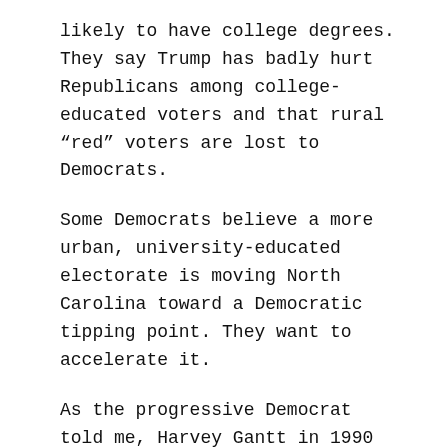likely to have college degrees. They say Trump has badly hurt Republicans among college-educated voters and that rural “red” voters are lost to Democrats.
Some Democrats believe a more urban, university-educated electorate is moving North Carolina toward a Democratic tipping point. They want to accelerate it.
As the progressive Democrat told me, Harvey Gantt in 1990 and 1996 and Barack Obama in 2008 and 2012 showed “the power of a candidate who can both inspire Black voters and appeal to the white voters traditionally available to Democrats.”